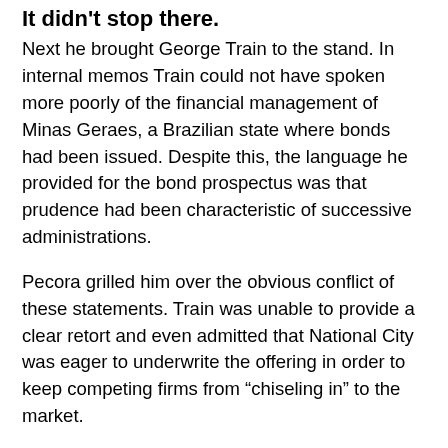It didn't stop there.
Next he brought George Train to the stand. In internal memos Train could not have spoken more poorly of the financial management of Minas Geraes, a Brazilian state where bonds had been issued. Despite this, the language he provided for the bond prospectus was that prudence had been characteristic of successive administrations.
Pecora grilled him over the obvious conflict of these statements. Train was unable to provide a clear retort and even admitted that National City was eager to underwrite the offering in order to keep competing firms from “chiseling in” to the market.
Lastly, he brought Edgar Brown to the stand. Brown was not a National City insider, but a customer. He put a very personal face on the fallout. He told his personal